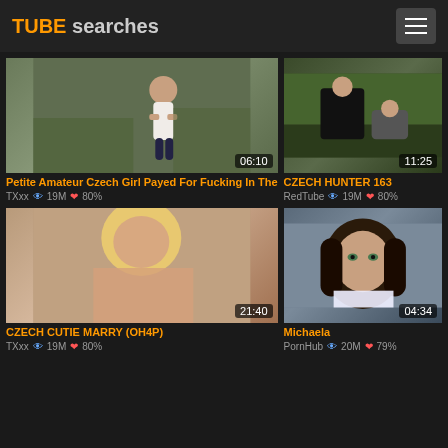TUBE searches
[Figure (photo): Video thumbnail – woman walking outdoors, duration 06:10]
Petite Amateur Czech Girl Payed For Fucking In The
TXxx 👁 19M ❤ 80%
[Figure (photo): Video thumbnail – outdoor scene, duration 11:25]
CZECH HUNTER 163
RedTube 👁 19M ❤ 80%
[Figure (photo): Video thumbnail – blonde woman, duration 21:40]
CZECH CUTIE MARRY (OH4P)
TXxx 👁 19M ❤ 80%
[Figure (photo): Video thumbnail – dark-haired woman, duration 04:34]
Michaela
PornHub 👁 20M ❤ 79%